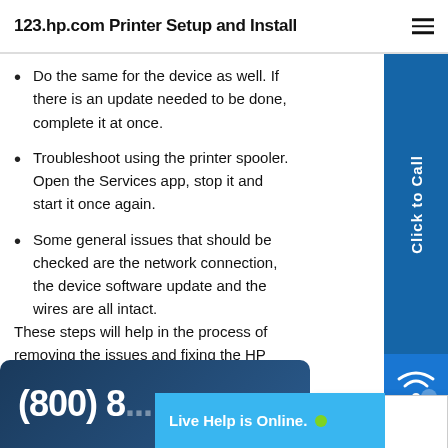123.hp.com Printer Setup and Install
Do the same for the device as well. If there is an update needed to be done, complete it at once.
Troubleshoot using the printer spooler. Open the Services app, stop it and start it once again.
Some general issues that should be checked are the network connection, the device software update and the wires are all intact.
These steps will help in the process of removing the issues and fixing the HP Officejet 4622 printer offline issue.
(800) 8... Live Help is Online.